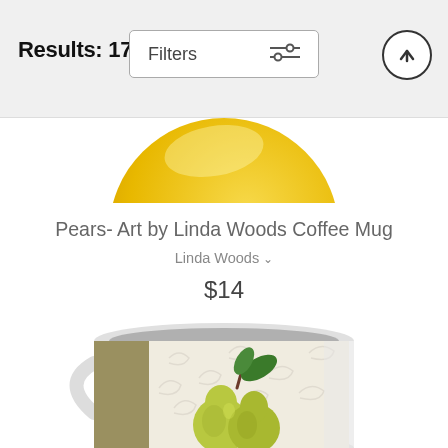Results: 17,243
[Figure (screenshot): Filters button with sliders icon]
[Figure (screenshot): Upload/scroll-to-top arrow button circle]
[Figure (photo): Top portion of a circular yellow product image (plate or similar) cropped at the top of the product listing area]
Pears- Art by Linda Woods Coffee Mug
Linda Woods
$14
[Figure (photo): A white coffee mug with a botanical illustration of two green pears with a green leaf on a cream/ivory decorative scroll background with an olive/gold side panel, shown from the front.]